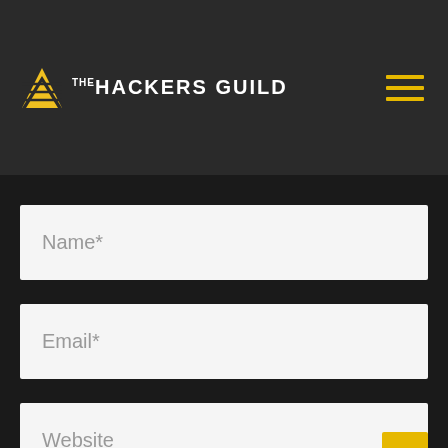THE HACKERS GUILD
Name*
Email*
Website